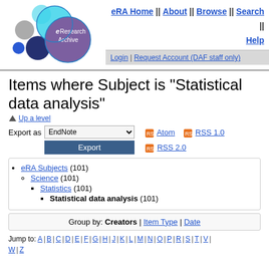[Figure (logo): eResearch Archive logo with colorful circles]
eRA Home || About || Browse || Search || Help
Login | Request Account (DAF staff only)
Items where Subject is "Statistical data analysis"
Up a level
Export as EndNote [dropdown] Export | Atom | RSS 1.0 | RSS 2.0
eRA Subjects (101)
Science (101)
Statistics (101)
Statistical data analysis (101)
Group by: Creators | Item Type | Date
Jump to: A | B | C | D | E | F | G | H | J | K | L | M | N | O | P | R | S | T | V | W | Z